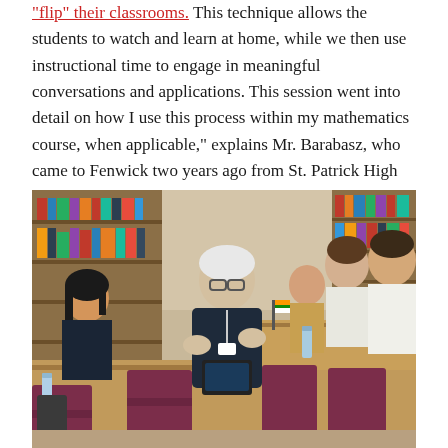"flip" their classrooms. This technique allows the students to watch and learn at home, while we then use instructional time to engage in meaningful conversations and applications. This session went into detail on how I use this process within my mathematics course, when applicable," explains Mr. Barabasz, who came to Fenwick two years ago from St. Patrick High School in Chicago.
[Figure (photo): A group of people sitting in a library or classroom setting. An older man with white hair and glasses, wearing a dark sweater, is gesturing with his hands while speaking. Others around him are listening, including a woman with long dark hair on the left, and two people (a woman and a man) on the right. Bookshelves with books are visible in the background along with a framed portrait on the wall. Purple/maroon chairs are visible at the tables.]